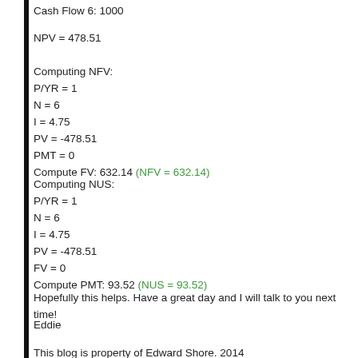Cash Flow 6: 1000
NPV = 478.51
Computing NFV:
P/YR = 1
N = 6
I = 4.75
PV = -478.51
PMT = 0
Compute FV: 632.14 (NFV = 632.14)
Computing NUS:
P/YR = 1
N = 6
I = 4.75
PV = -478.51
FV = 0
Compute PMT: 93.52 (NUS = 93.52)
Hopefully this helps. Have a great day and I will talk to you next time!
Eddie
This blog is property of Edward Shore. 2014